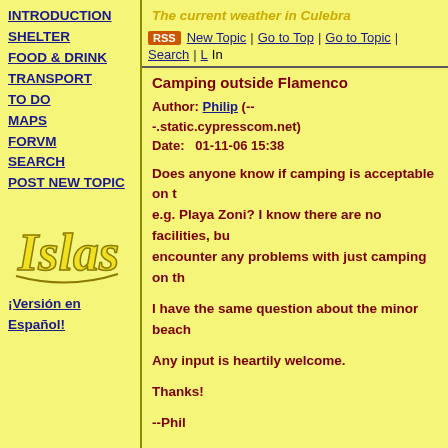INTRODUCTION
SHELTER
FOOD & DRINK
TRANSPORT
TO DO
MAPS
FORVM
SEARCH
POST NEW TOPIC
[Figure (logo): Islas cursive logo in yellow]
¡Versión en Español!
The current weather in Culebra
RSS | New Topic | Go to Top | Go to Topic | Search | L... | In
Camping outside Flamenco
Author: Philip (-- -.static.cypresscom.net)
Date:   01-11-06 15:38
Does anyone know if camping is acceptable on ... e.g. Playa Zoni? I know there are no facilities, bu... encounter any problems with just camping on th...

I have the same question about the minor beach...

Any input is heartily welcome.

Thanks!

--Phil